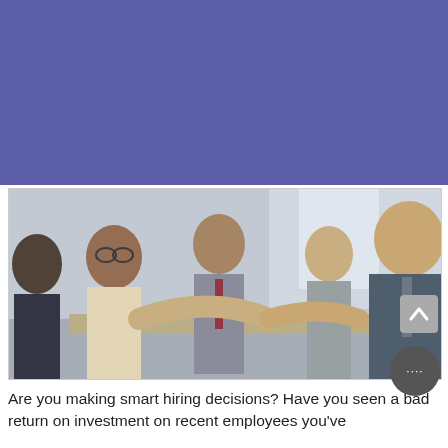Staffing Agency – Top 3 Benefits
HB Staffing
Posted on August 21, 2019 by HB Staffing
[Figure (photo): Business professionals shaking hands across a table in an office setting, with two other colleagues standing in the background smiling.]
Are you making smart hiring decisions? Have you seen a bad return on investment on recent employees you've